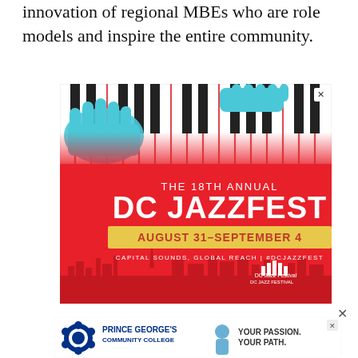innovation of regional MBEs who are role models and inspire the entire community.
[Figure (illustration): DC JazzFest advertisement banner. Red background with illustrated blue hands playing a piano keyboard. Text reads: THE 18TH ANNUAL DC JAZZFEST AUGUST 31–SEPTEMBER 4 CAPITAL SOUNDS, GLOBAL REACH | #DCJAZZFEST with DC Jazz Festival logo at bottom right.]
[Figure (illustration): Prince George's Community College advertisement banner. White background with college emblem/logo on left, text PRINCE GEORGE'S COMMUNITY COLLEGE in center, photo of smiling student in scrubs on right with text YOUR PASSION. YOUR PATH.]